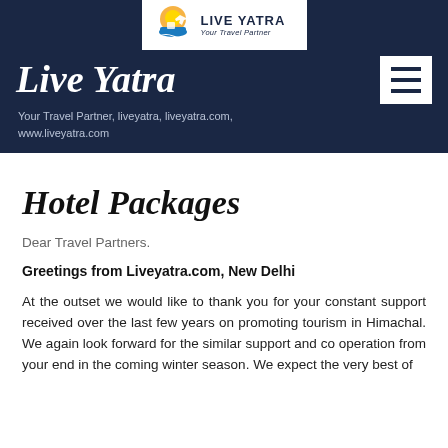[Figure (logo): Live Yatra logo with ship, airplane and sun icon, text 'LIVE YATRA Your Travel Partner']
Live Yatra
Your Travel Partner, liveyatra, liveyatra.com, www.liveyatra.com
Hotel Packages
Dear Travel Partners.
Greetings from Liveyatra.com, New Delhi
At the outset we would like to thank you for your constant support received over the last few years on promoting tourism in Himachal. We again look forward for the similar support and co operation from your end in the coming winter season. We expect the very best of